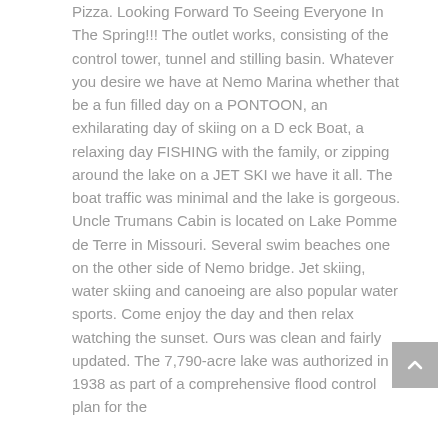Pizza. Looking Forward To Seeing Everyone In The Spring!!! The outlet works, consisting of the control tower, tunnel and stilling basin. Whatever you desire we have at Nemo Marina whether that be a fun filled day on a PONTOON, an exhilarating day of skiing on a D eck Boat, a relaxing day FISHING with the family, or zipping around the lake on a JET SKI we have it all. The boat traffic was minimal and the lake is gorgeous. Uncle Trumans Cabin is located on Lake Pomme de Terre in Missouri. Several swim beaches one on the other side of Nemo bridge. Jet skiing, water skiing and canoeing are also popular water sports. Come enjoy the day and then relax watching the sunset. Ours was clean and fairly updated. The 7,790-acre lake was authorized in 1938 as part of a comprehensive flood control plan for the